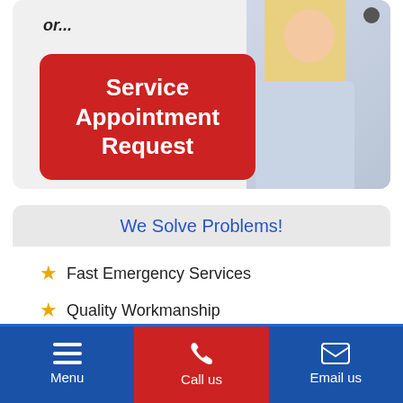or...
[Figure (screenshot): Red button with white bold text reading 'Service Appointment Request' with a woman in the background]
We Solve Problems!
Fast Emergency Services
Quality Workmanship
Trusted Over 50+ Years
Licensed & Fully Insured
Menu | Call us | Email us